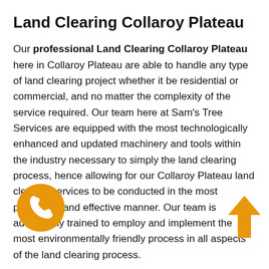Land Clearing Collaroy Plateau
Our professional Land Clearing Collaroy Plateau here in Collaroy Plateau are able to handle any type of land clearing project whether it be residential or commercial, and no matter the complexity of the service required. Our team here at Sam’s Tree Services are equipped with the most technologically enhanced and updated machinery and tools within the industry necessary to simply the land clearing process, hence allowing for our Collaroy Plateau land clearing services to be conducted in the most productive and effective manner. Our team is additionally trained to employ and implement the most environmentally friendly process in all aspects of the land clearing process.
Stump Grinding Collaroy Plateau
If you are in need of the removal of a stump from your property here in Collaroy Plateau look no further than our Collaroy Plateau stump grinding. Our team is experienced and qualified to is further able to remove any type of stump within a professional and safe manner.